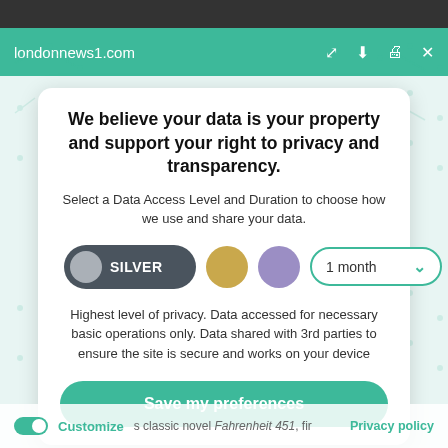londonnews1.com
We believe your data is your property and support your right to privacy and transparency.
Select a Data Access Level and Duration to choose how we use and share your data.
[Figure (infographic): Privacy level selector showing SILVER button with grey circle, gold circle, purple circle, and a '1 month' dropdown selector]
Highest level of privacy. Data accessed for necessary basic operations only. Data shared with 3rd parties to ensure the site is secure and works on your device
Save my preferences
Customize  Privacy policy